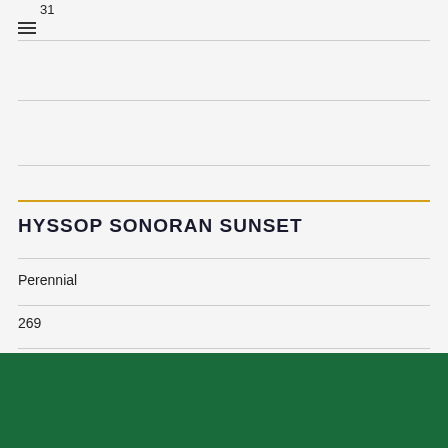31
HYSSOP SONORAN SUNSET
Perennial
269